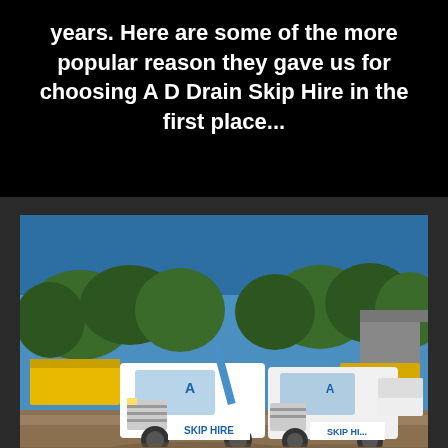years. Here are some of the more popular reason they gave us for choosing A D Drain Skip Hire in the first place...
[Figure (photo): Two white skip hire trucks with blue 'SKIP HIRE' lettering parked in a yard, with yellow skips visible in the background and trees under a blue sky.]